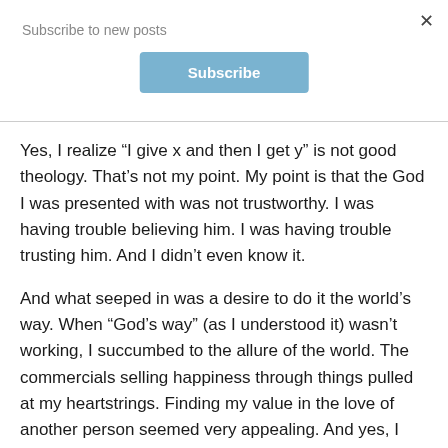Subscribe to new posts
Yes, I realize “I give x and then I get y” is not good theology. That’s not my point. My point is that the God I was presented with was not trustworthy. I was having trouble believing him. I was having trouble trusting him. And I didn’t even know it.
And what seeped in was a desire to do it the world’s way. When “God’s way” (as I understood it) wasn’t working, I succumbed to the allure of the world. The commercials selling happiness through things pulled at my heartstrings. Finding my value in the love of another person seemed very appealing. And yes, I pursued these things, especially